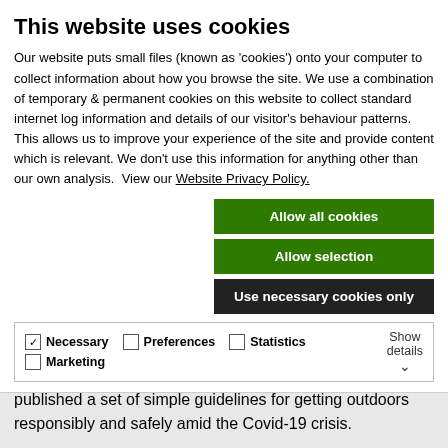This website uses cookies
Our website puts small files (known as 'cookies') onto your computer to collect information about how you browse the site. We use a combination of temporary & permanent cookies on this website to collect standard internet log information and details of our visitor's behaviour patterns. This allows us to improve your experience of the site and provide content which is relevant. We don't use this information for anything other than our own analysis.  View our Website Privacy Policy.
Allow all cookies
Allow selection
Use necessary cookies only
Necessary  Preferences  Statistics  Marketing  Show details
As we head into the weekend, though 'weekend' activities are becoming less defined, Leave No Trace Ireland have published a set of simple guidelines for getting outdoors responsibly and safely amid the Covid-19 crisis.
Increasing numbers of people are seeking the natural benefits of getting outdoors, taking in fresh air, letting off pent up energy